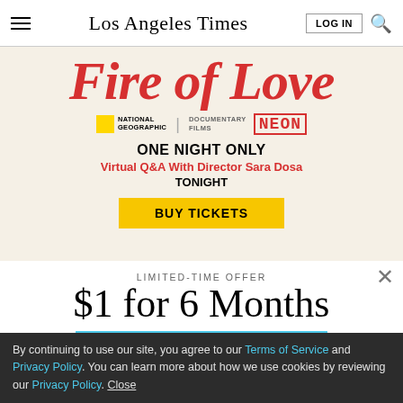Los Angeles Times
[Figure (screenshot): Fire of Love documentary advertisement. Features large red italic text 'Fire of Love', National Geographic and Documentary Films logos, NEON branding, text 'ONE NIGHT ONLY', 'Virtual Q&A With Director Sara Dosa', 'TONIGHT', and a yellow 'BUY TICKETS' button.]
LIMITED-TIME OFFER
$1 for 6 Months
SUBSCRIBE NOW
By continuing to use our site, you agree to our Terms of Service and Privacy Policy. You can learn more about how we use cookies by reviewing our Privacy Policy. Close